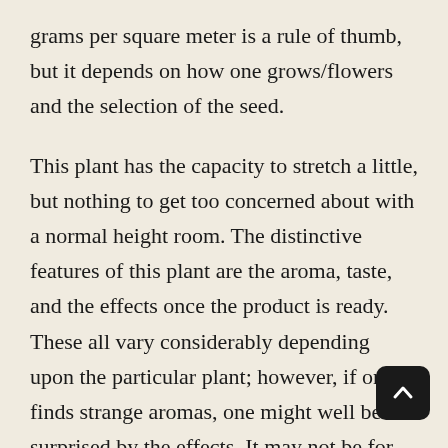grams per square meter is a rule of thumb, but it depends on how one grows/flowers and the selection of the seed.
This plant has the capacity to stretch a little, but nothing to get too concerned about with a normal height room. The distinctive features of this plant are the aroma, taste, and the effects once the product is ready. These all vary considerably depending upon the particular plant; however, if one finds strange aromas, one might well be surprised by the effects. It may not be for everyone but those looking for a holy grail type of plant for their gardens should give this hybrid a try.
It can be very rewarding to find that 1 in a 1000